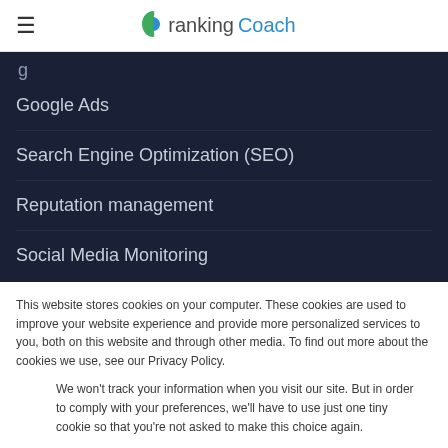rankingCoach
Google Ads
Search Engine Optimization (SEO)
Reputation management
Social Media Monitoring
This website stores cookies on your computer. These cookies are used to improve your website experience and provide more personalized services to you, both on this website and through other media. To find out more about the cookies we use, see our Privacy Policy.
We won't track your information when you visit our site. But in order to comply with your preferences, we'll have to use just one tiny cookie so that you're not asked to make this choice again.